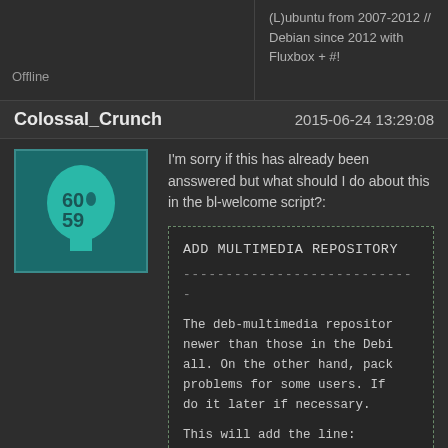(L)ubuntu from 2007-2012 // Debian since 2012 with Fluxbox + #!
Offline
Colossal_Crunch
2015-06-24 13:29:08
[Figure (illustration): User avatar: teal/green silhouette of a head with numbers 60 and 59 inside, on dark teal background]
I'm sorry if this has already been ansswered but what should I do about this in the bl-welcome script?:
ADD MULTIMEDIA REPOSITORY
----------------------------

The deb-multimedia repositor newer than those in the Debi all. On the other hand, pack problems for some users. If do it later if necessary.

This will add the line:
    deb http://www.deb-multi